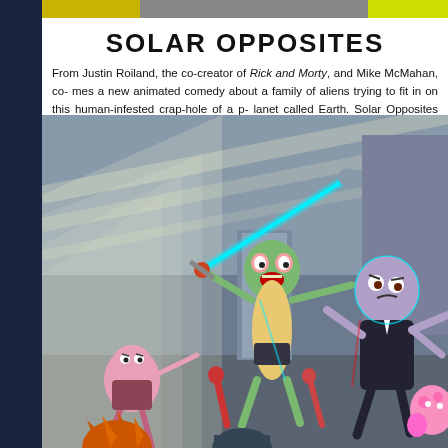SOLAR OPPOSITES
From Justin Roiland, the co-creator of Rick and Morty, and Mike McMahan, comes a new animated comedy about a family of aliens trying to fit in on this human-infested crap-hole of a planet called Earth. Solar Opposites lands May 8, only on Hulu.
[Figure (illustration): Animated scene from Solar Opposites showing cartoon alien characters fighting with swords and weapons inside a house, with dramatic lighting rays. Characters include a tall green alien, a small pink alien, a bald purple alien in a suit, and a small pink creature in the foreground corner.]